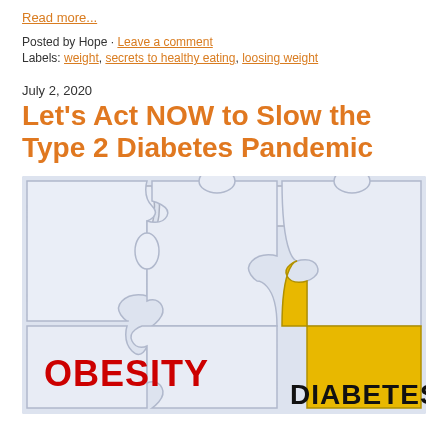Read more...
Posted by Hope · Leave a comment
Labels: weight, secrets to healthy eating, loosing weight
July 2, 2020
Let's Act NOW to Slow the Type 2 Diabetes Pandemic
[Figure (photo): Puzzle pieces image with white pieces and one yellow piece. Red bold text 'OBESITY' on white puzzle piece and black bold text 'DIABETES' on yellow puzzle piece, illustrating the connection between obesity and diabetes.]